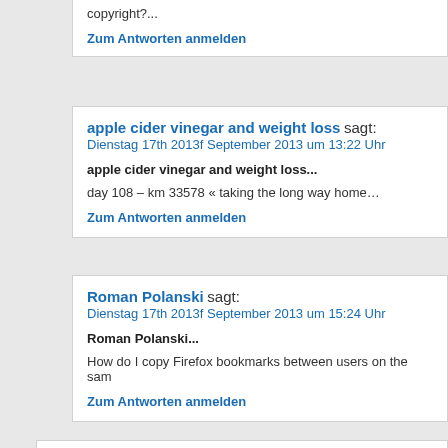copyright?...
Zum Antworten anmelden
apple cider vinegar and weight loss sagt:
Dienstag 17th 2013f September 2013 um 13:22 Uhr
apple cider vinegar and weight loss...
day 108 – km 33578 « taking the long way home…
Zum Antworten anmelden
Roman Polanski sagt:
Dienstag 17th 2013f September 2013 um 15:24 Uhr
Roman Polanski...
How do I copy Firefox bookmarks between users on the sam
Zum Antworten anmelden
blogs.rediff.com sagt:
Dienstag 17th 2013f September 2013 um 19:16 Uhr
blogs.rediff.com...
day 108 – km 33578 « taking the long way home…
Zum Antworten anmelden